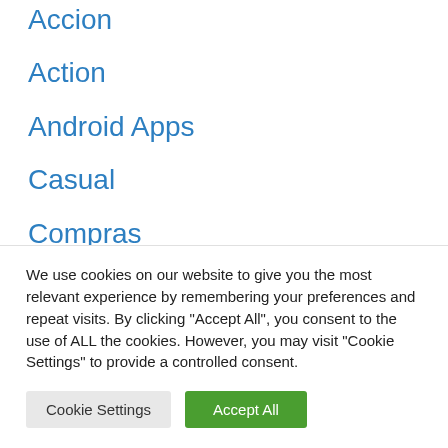Accion
Action
Android Apps
Casual
Compras
Comunicación
Deportes
Digital Marketing
We use cookies on our website to give you the most relevant experience by remembering your preferences and repeat visits. By clicking “Accept All”, you consent to the use of ALL the cookies. However, you may visit "Cookie Settings" to provide a controlled consent.
Cookie Settings | Accept All